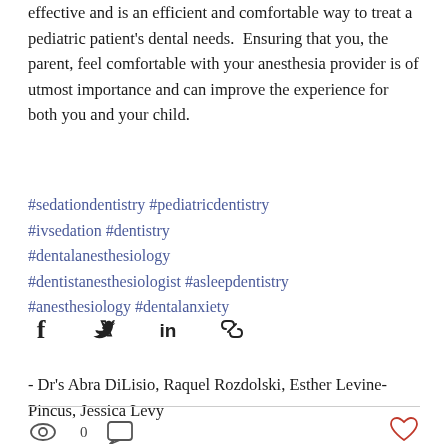effective and is an efficient and comfortable way to treat a pediatric patient's dental needs.  Ensuring that you, the parent, feel comfortable with your anesthesia provider is of utmost importance and can improve the experience for both you and your child.
#sedationdentistry #pediatricdentistry #ivsedation #dentistry #dentalanesthesiology #dentistanesthesiologist #asleepdentistry #anesthesiology #dentalanxiety
- Dr's Abra DiLisio, Raquel Rozdolski, Esther Levine-Pincus, Jessica Levy
[Figure (infographic): Social share icons: Facebook, Twitter, LinkedIn, link/chain icon]
[Figure (infographic): Footer bar with eye/views icon showing 0 views, comment icon, and a red heart/like icon on the right]